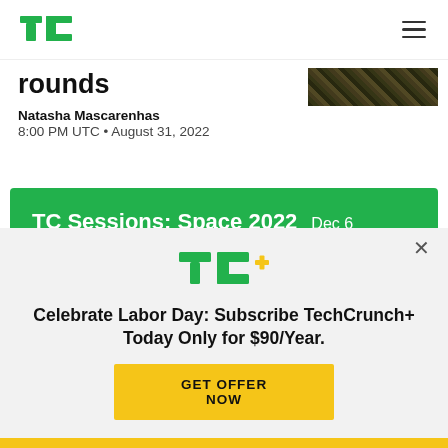TechCrunch logo and navigation
rounds
Natasha Mascarenhas
8:00 PM UTC • August 31, 2022
[Figure (photo): Dark glittery background article thumbnail image]
[Figure (infographic): Green promotional banner: TC Sessions: Space 2022 Dec 6 - Discover what's on the horizon for the next frontier - Buy Now button]
[Figure (logo): TC+ logo in green]
Celebrate Labor Day: Subscribe TechCrunch+ Today Only for $90/Year.
GET OFFER NOW